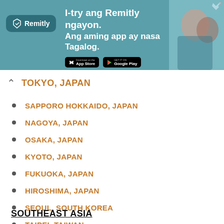[Figure (screenshot): Remitly advertisement banner with teal background. Text reads 'I-try ang Remitly ngayon. Ang aming app ay nasa Tagalog.' with App Store and Google Play download buttons. Shows Remitly logo on left and photo of people on right.]
TOKYO, JAPAN
SAPPORO HOKKAIDO, JAPAN
NAGOYA, JAPAN
OSAKA, JAPAN
KYOTO, JAPAN
FUKUOKA, JAPAN
HIROSHIMA, JAPAN
SEOUL, SOUTH KOREA
TAIPEI, TAIWAN
HONG KONG
MACAU
BEIJING, CHINA
SHANGHAI, CHINA
SOUTHEAST ASIA